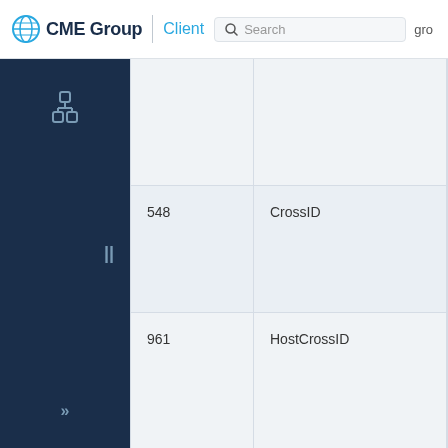CME Group | Client Search gro
|  |  |  |
| --- | --- | --- |
|  |  |  |
| 548 | CrossID | uInt64NUL… |
| 961 | HostCrossID | uInt64NUL… |
| 9537 | Location | String5Req… |